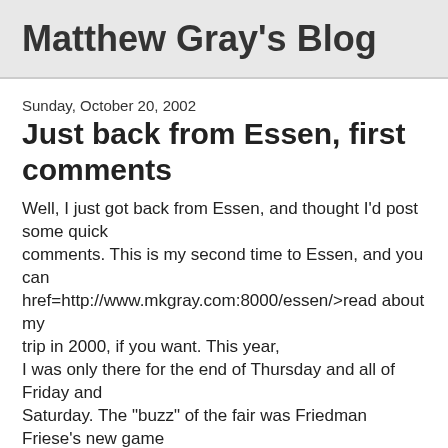Matthew Gray's Blog
Sunday, October 20, 2002
Just back from Essen, first comments
Well, I just got back from Essen, and thought I'd post some quick comments. This is my second time to Essen, and you can href=http://www.mkgray.com:8000/essen/>read about my trip in 2000, if you want. This year, I was only there for the end of Thursday and all of Friday and Saturday. The "buzz" of the fair was Friedman Friese's new game "Fische Fluppen Frikadellen", in which players can switch between tables and multiple series of the game. I didn't get a chance